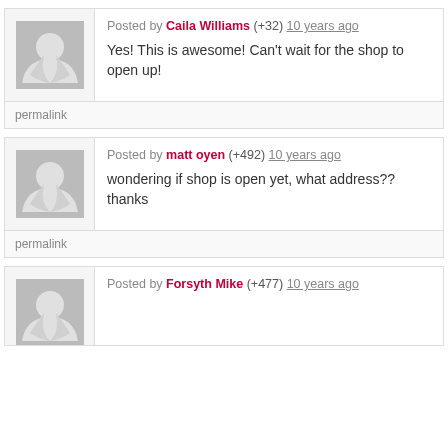Posted by Caila Williams (+32) 10 years ago
Yes! This is awesome! Can't wait for the shop to open up!
permalink
Posted by matt oyen (+492) 10 years ago
wondering if shop is open yet, what address?? thanks
permalink
Posted by Forsyth Mike (+477) 10 years ago